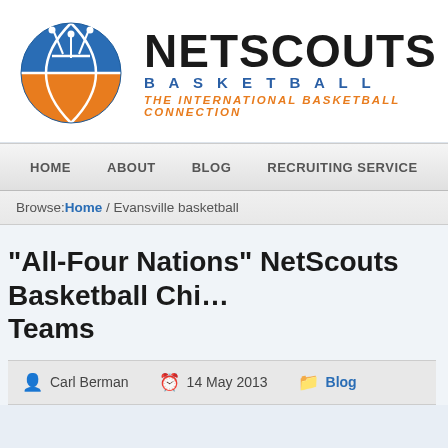[Figure (logo): NetScouts Basketball logo: circular basketball icon split into blue (top) and orange (bottom) halves with white net lines on blue. Text: NETSCOUTS in bold black, BASKETBALL in spaced blue letters, THE INTERNATIONAL BASKETBALL CONNECTION in orange italic.]
HOME   ABOUT   BLOG   RECRUITING SERVICE   COLLEGE TOUR
Browse: Home / Evansville basketball
“All-Four Nations” NetScouts Basketball Chi… Teams
Carl Berman   14 May 2013   Blog